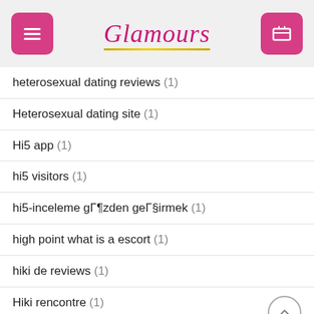Glamours
heterosexual dating reviews (1)
Heterosexual dating site (1)
Hi5 app (1)
hi5 visitors (1)
hi5-inceleme gözden geçirmek (1)
high point what is a escort (1)
hiki de reviews (1)
Hiki rencontre (1)
Hindu Dating site (1)
hinge es review (1)